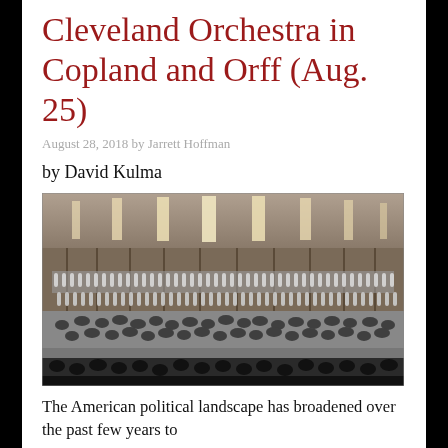Cleveland Orchestra in Copland and Orff (Aug. 25)
August 28, 2018 by Jarrett Hoffman
by David Kulma
[Figure (photo): Black and white photograph of the Cleveland Orchestra performing on stage in a large concert hall, with a full chorus seated behind the orchestra, and audience visible in the foreground.]
The American political landscape has broadened over the past few years to